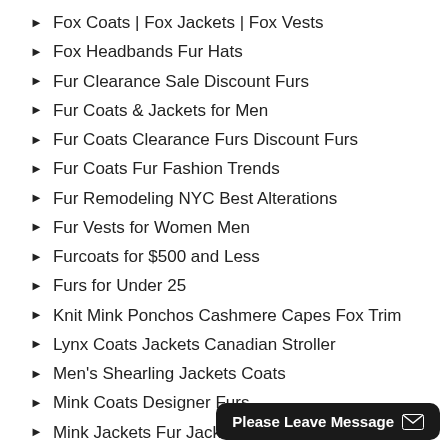Fox Coats | Fox Jackets | Fox Vests
Fox Headbands Fur Hats
Fur Clearance Sale Discount Furs
Fur Coats & Jackets for Men
Fur Coats Clearance Furs Discount Furs
Fur Coats Fur Fashion Trends
Fur Remodeling NYC Best Alterations
Fur Vests for Women Men
Furcoats for $500 and Less
Furs for Under 25
Knit Mink Ponchos Cashmere Capes Fox Trim
Lynx Coats Jackets Canadian Stroller
Men's Shearling Jackets Coats
Mink Coats Designer Furs
Mink Jackets Fur Jackets M...